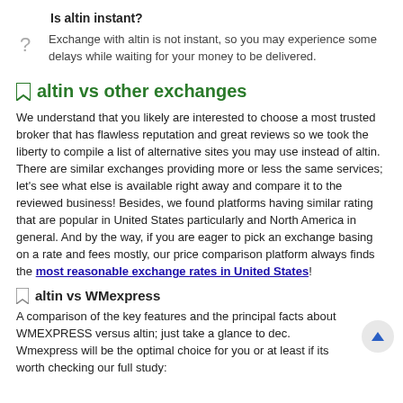Is altin instant?
Exchange with altin is not instant, so you may experience some delays while waiting for your money to be delivered.
altin vs other exchanges
We understand that you likely are interested to choose a most trusted broker that has flawless reputation and great reviews so we took the liberty to compile a list of alternative sites you may use instead of altin. There are similar exchanges providing more or less the same services; let's see what else is available right away and compare it to the reviewed business! Besides, we found platforms having similar rating that are popular in United States particularly and North America in general. And by the way, if you are eager to pick an exchange basing on a rate and fees mostly, our price comparison platform always finds the most reasonable exchange rates in United States!
altin vs WMexpress
A comparison of the key features and the principal facts about WMEXPRESS versus altin; just take a glance to dec. Wmexpress will be the optimal choice for you or at least if its worth checking our full study: